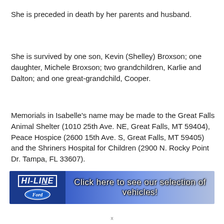She is preceded in death by her parents and husband.
She is survived by one son, Kevin (Shelley) Broxson; one daughter, Michele Broxson; two grandchildren, Karlie and Dalton; and one great-grandchild, Cooper.
Memorials in Isabelle's name may be made to the Great Falls Animal Shelter (1010 25th Ave. NE, Great Falls, MT 59404), Peace Hospice (2600 15th Ave. S, Great Falls, MT 59405) and the Shriners Hospital for Children (2900 N. Rocky Point Dr. Tampa, FL 33607).
[Figure (advertisement): Hi-Line Ford advertisement banner with blue background, Ford oval logo on the left, and text 'Click here to see our selection of vehicles!' on the right against a blue gradient background.]